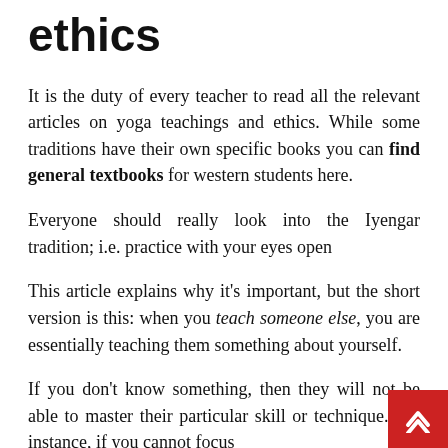ethics
It is the duty of every teacher to read all the relevant articles on yoga teachings and ethics. While some traditions have their own specific books you can find general textbooks for western students here.
Everyone should really look into the Iyengar tradition; i.e. practice with your eyes open
This article explains why it's important, but the short version is this: when you teach someone else, you are essentially teaching them something about yourself.
If you don't know something, then they will not be able to master their particular skill or technique. For instance, if you cannot focus